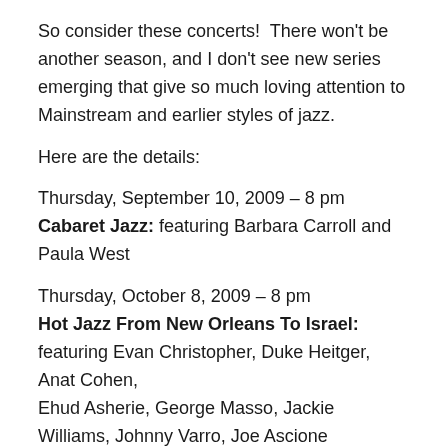So consider these concerts!  There won't be another season, and I don't see new series emerging that give so much loving attention to Mainstream and earlier styles of jazz.
Here are the details:
Thursday, September 10, 2009 – 8 pm
Cabaret Jazz: featuring Barbara Carroll and Paula West
Thursday, October 8, 2009 – 8 pm
Hot Jazz From New Orleans To Israel: featuring Evan Christopher, Duke Heitger, Anat Cohen, Ehud Asherie, George Masso, Jackie Williams, Johnny Varro, Joe Ascione
Thursday, November 12, 2009 – 8 pm
Living Jazz Legends: featuring Buddy DeFranco, Jay